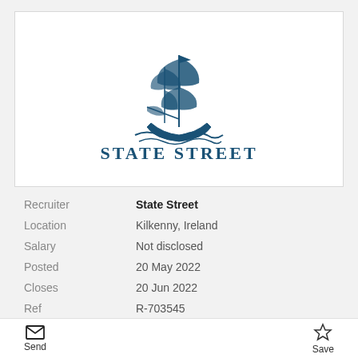[Figure (logo): State Street logo: a tall ship with sails and the text STATE STREET in navy blue serif font]
| Recruiter | State Street |
| Location | Kilkenny, Ireland |
| Salary | Not disclosed |
| Posted | 20 May 2022 |
| Closes | 20 Jun 2022 |
| Ref | R-703545 |
Send   Save